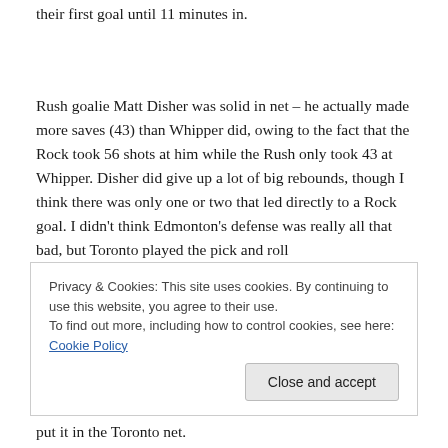their first goal until 11 minutes in.
Rush goalie Matt Disher was solid in net – he actually made more saves (43) than Whipper did, owing to the fact that the Rock took 56 shots at him while the Rush only took 43 at Whipper. Disher did give up a lot of big rebounds, though I think there was only one or two that led directly to a Rock goal. I didn't think Edmonton's defense was really all that bad, but Toronto played the pick and roll...
Privacy & Cookies: This site uses cookies. By continuing to use this website, you agree to their use. To find out more, including how to control cookies, see here: Cookie Policy
put it in the Toronto net.